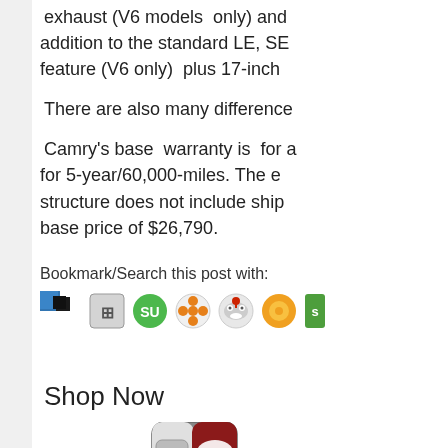exhaust (V6 models only) and addition to the standard LE, SE feature (V6 only)  plus 17-inch
There are also many difference
Camry's base  warranty is  for a for 5-year/60,000-miles. The e structure does not include ship base price of $26,790.
Bookmark/Search this post with:
[Figure (infographic): Row of social bookmarking icons: del.icio.us, Digg, StumbleUpon, Delicious/Magnolia, Reddit, Netscape/Sun, and one partially visible green icon]
Shop Now
[Figure (photo): Product image of Febreze CAR air freshener in Old Spice scent, dark red packaging with white and silver design elements]